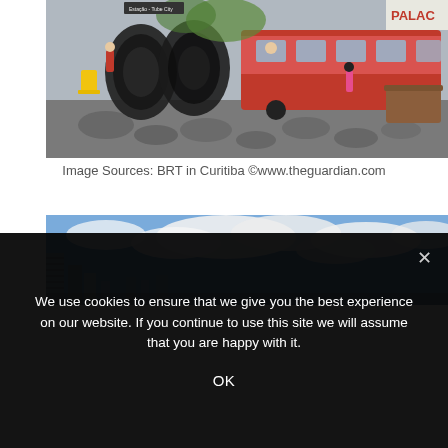[Figure (photo): Street-level photo of BRT bus rapid transit station in Curitiba, Brazil. Cylindrical tube stations visible on the left with people boarding. A red articulated bus is parked on the right side. Decorative patterned pavement in black and white in the foreground. A wooden bench/planter is visible on the right. A commercial sign 'PALAC' is visible in the upper right corner.]
Image Sources: BRT in Curitiba ©www.theguardian.com
[Figure (photo): Cityscape photo showing tall residential or office buildings on the left against a dramatic sky with large white cumulus clouds. Urban skyline in the background.]
We use cookies to ensure that we give you the best experience on our website. If you continue to use this site we will assume that you are happy with it.
OK